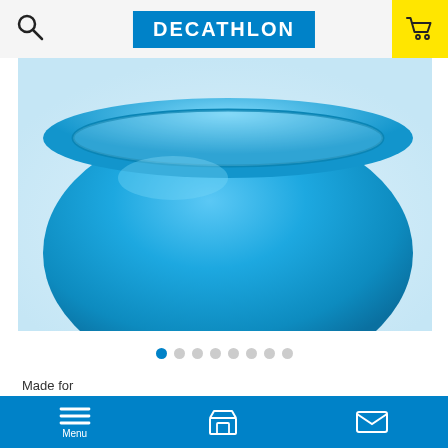Decathlon – navigation header with search icon, Decathlon logo, and cart icon
[Figure (photo): Close-up photo of a blue plastic food box/bowl against a white/light blue background]
● ○ ○ ○ ○ ○ ○ ○ (carousel indicator dots, first dot active)
Made for
This food box enables you to carry your food when hiking without dirtying your bag. MORE
Menu | Store | Mail – bottom navigation bar